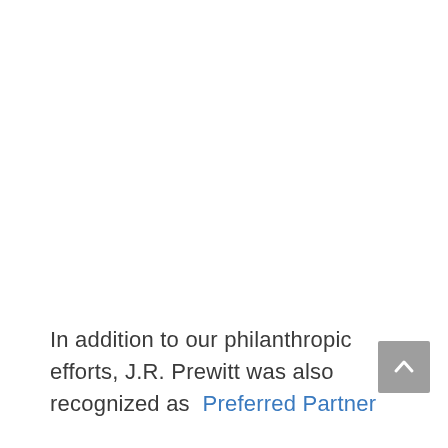In addition to our philanthropic efforts, J.R. Prewitt was also recognized as  Preferred Partner